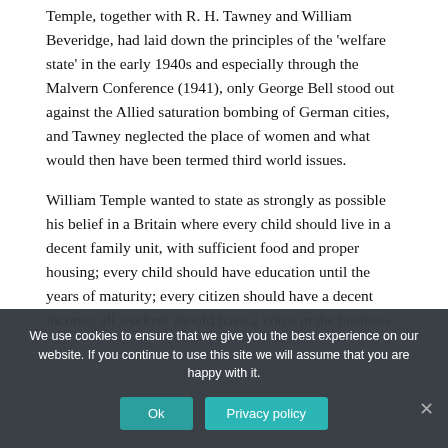Temple, together with R. H. Tawney and William Beveridge, had laid down the principles of the 'welfare state' in the early 1940s and especially through the Malvern Conference (1941), only George Bell stood out against the Allied saturation bombing of German cities, and Tawney neglected the place of women and what would then have been termed third world issues.
William Temple wanted to state as strongly as possible his belief in a Britain where every child should live in a decent family unit, with sufficient food and proper housing; every child should have education until the years of maturity; every citizen should have a decent income; all workers should have a voice in the business...
We use cookies to ensure that we give you the best experience on our website. If you continue to use this site we will assume that you are happy with it.